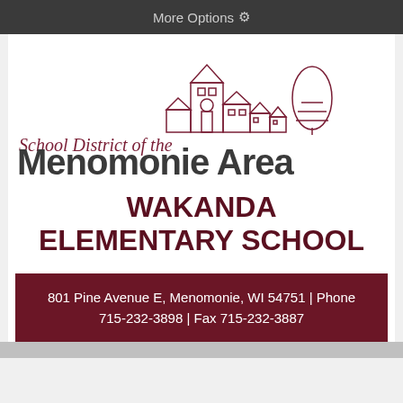More Options ⚙
[Figure (logo): School District of the Menomonie Area logo with school building and tree illustrations in dark red/maroon line art]
WAKANDA ELEMENTARY SCHOOL
801 Pine Avenue E, Menomonie, WI 54751 | Phone 715-232-3898 | Fax 715-232-3887